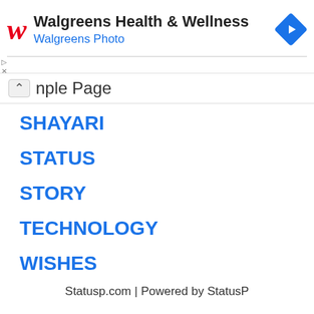[Figure (other): Walgreens Health & Wellness advertisement banner with red cursive W logo, navigation arrow diamond icon, and blue subtitle 'Walgreens Photo']
nple Page
SHAYARI
STATUS
STORY
TECHNOLOGY
WISHES
Statusp.com | Powered by StatusP